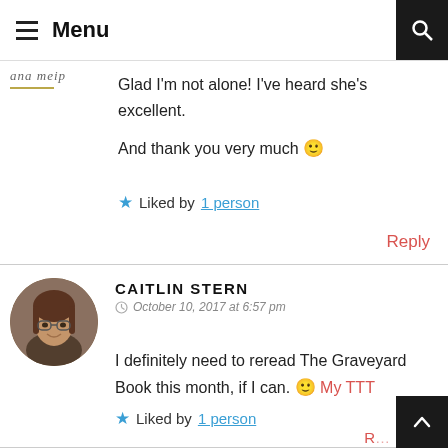Menu
ana meip
Glad I'm not alone! I've heard she's excellent.
And thank you very much 🙂
★ Liked by 1 person
Reply
CAITLIN STERN
October 10, 2017 at 6:57 pm
I definitely need to reread The Graveyard Book this month, if I can. 🙂 My TTT
★ Liked by 1 person